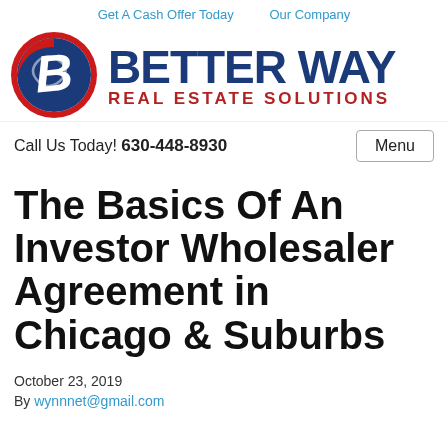Get A Cash Offer Today   Our Company
[Figure (logo): Better Way Real Estate Solutions logo with circular emblem containing stylized B in red/blue/white and company name in navy blue with red subtitle]
Call Us Today! 630-448-8930
The Basics Of An Investor Wholesaler Agreement in Chicago & Suburbs
October 23, 2019
By wynnnet@gmail.com